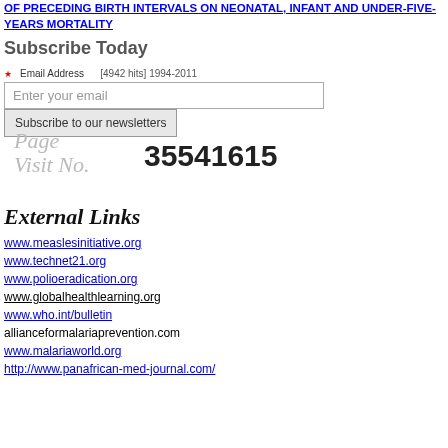OF PRECEDING BIRTH INTERVALS ON NEONATAL, INFANT AND UNDER-FIVE-YEARS MORTALITY
Subscribe Today
[4942 hits] 1994-2011
Email Address
Enter your email
Subscribe to our newsletters
[Figure (other): Page Visit No. counter widget showing number 35541615]
External Links
www.measlesinitiative.org
www.technet21.org
www.polioeradication.org
www.globalhealthlearning.org
www.who.int/bulletin
allianceformalariaprevention.com
www.malariaworld.org
http://www.panafrican-med-journal.com/